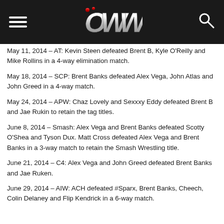OWW navigation header with hamburger menu and search icon
May 11, 2014 – AT: Kevin Steen defeated Brent B, Kyle O'Reilly and Mike Rollins in a 4-way elimination match.
May 18, 2014 – SCP: Brent Banks defeated Alex Vega, John Atlas and John Greed in a 4-way match.
May 24, 2014 – APW: Chaz Lovely and Sexxxy Eddy defeated Brent B and Jae Rukin to retain the tag titles.
June 8, 2014 – Smash: Alex Vega and Brent Banks defeated Scotty O'Shea and Tyson Dux. Matt Cross defeated Alex Vega and Brent Banks in a 3-way match to retain the Smash Wrestling title.
June 21, 2014 – C4: Alex Vega and John Greed defeated Brent Banks and Jae Ruken.
June 29, 2014 – AIW: ACH defeated #Sparx, Brent Banks, Cheech, Colin Delaney and Flip Kendrick in a 6-way match.